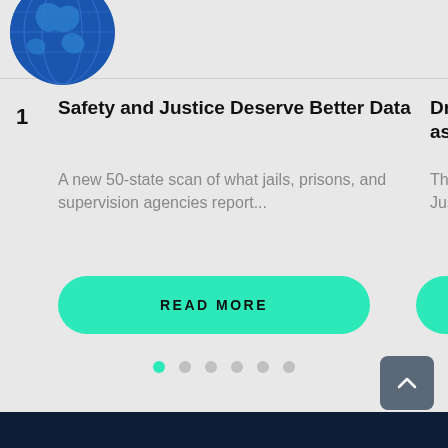[Figure (illustration): Partial globe/earth illustration in blue, cropped circle at top left]
1
Safety and Justice Deserve Better Data
A new 50-state scan of what jails, prisons, and supervision agencies report...
Dr. D as D
The Just
[Figure (screenshot): READ MORE button — teal rounded pill button]
[Figure (screenshot): Carousel pagination dots — 6 dots, first one active in teal]
[Figure (screenshot): Back to top arrow button in dark gray]